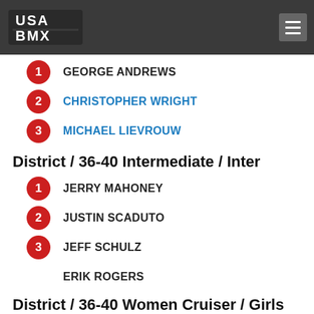USA BMX
1 GEORGE ANDREWS
2 CHRISTOPHER WRIGHT
3 MICHAEL LIEVROUW
District / 36-40 Intermediate / Inter
1 JERRY MAHONEY
2 JUSTIN SCADUTO
3 JEFF SCHULZ
ERIK ROGERS
District / 36-40 Women Cruiser / Girls Cruiser
1 ASHLYN GOLDSMITH
2 DAINA MELTON